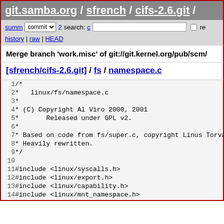git.samba.org / sfrench / cifs-2.6.git /
summ commit log search: re history | raw | HEAD
Merge branch 'work.misc' of git://git.kernel.org/pub/scm/
[sfrench/cifs-2.6.git] / fs / namespace.c
1  /*
2   *  linux/fs/namespace.c
3   *
4   * (C) Copyright Al Viro 2000, 2001
5   *      Released under GPL v2.
6   *
7   * Based on code from fs/super.c, copyright Linus Torva
8   * Heavily rewritten.
9   */
10
11 #include <linux/syscalls.h>
12 #include <linux/export.h>
13 #include <linux/capability.h>
14 #include <linux/mnt_namespace.h>
15 #include <linux/user_namespace.h>
16 #include <linux/namei.h>
17 #include <linux/security.h>
18 #include <linux/cred.h>
19 #include <linux/idr.h>